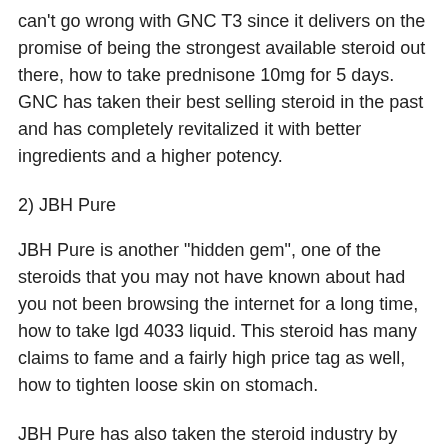can't go wrong with GNC T3 since it delivers on the promise of being the strongest available steroid out there, how to take prednisone 10mg for 5 days. GNC has taken their best selling steroid in the past and has completely revitalized it with better ingredients and a higher potency.
2) JBH Pure
JBH Pure is another "hidden gem", one of the steroids that you may not have known about had you not been browsing the internet for a long time, how to take lgd 4033 liquid. This steroid has many claims to fame and a fairly high price tag as well, how to tighten loose skin on stomach.
JBH Pure has also taken the steroid industry by storm for its super-high potency and ability to help kick ass in a short period of time. With the steroid in a strong hold...